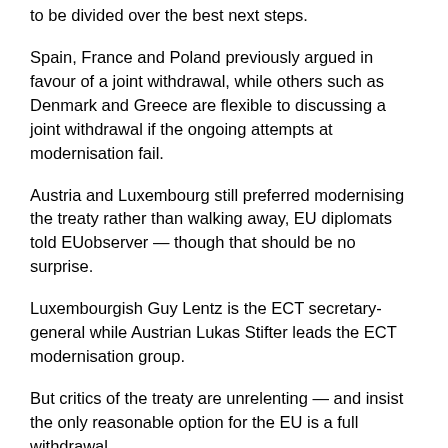to be divided over the best next steps.
Spain, France and Poland previously argued in favour of a joint withdrawal, while others such as Denmark and Greece are flexible to discussing a joint withdrawal if the ongoing attempts at modernisation fail.
Austria and Luxembourg still preferred modernising the treaty rather than walking away, EU diplomats told EUobserver — though that should be no surprise.
Luxembourgish Guy Lentz is the ECT secretary-general while Austrian Lukas Stifter leads the ECT modernisation group.
But critics of the treaty are unrelenting — and insist the only reasonable option for the EU is a full withdrawal
As for modernization, said Saheb, there "is no hope."
source : EU Observer
Printed from: https://www.bilaterals.org/./?calls-to-ditch-ecocide-treaty